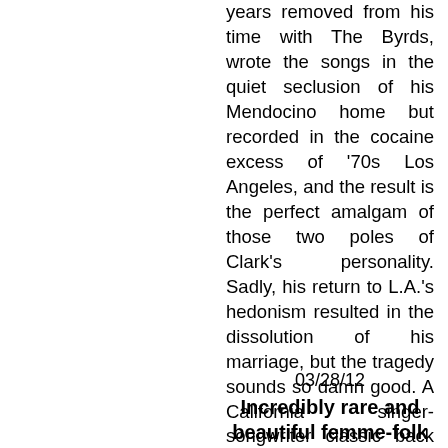years removed from his time with The Byrds, wrote the songs in the quiet seclusion of his Mendocino home but recorded in the cocaine excess of '70s Los Angeles, and the result is the perfect amalgam of those two poles of Clark's personality. Sadly, his return to L.A.'s hedonism resulted in the dissolution of his marriage, but the tragedy sounds so damn good. A California singer-songwriter classic back in print on vinyl with reproductions of the original insert and poster. Click here or on the cover image for more info or to purchase a copy.
03/28/12
Incredibly rare and beautiful femme-folk